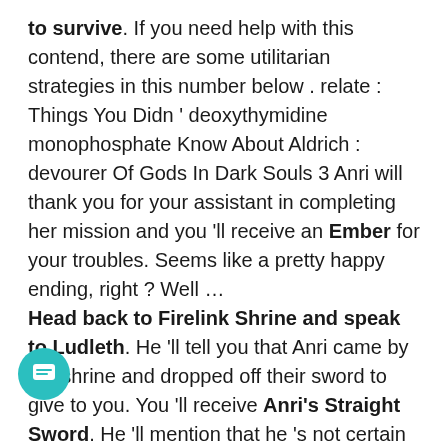to survive. If you need help with this contend, there are some utilitarian strategies in this number below . relate : Things You Didn ' deoxythymidine monophosphate Know About Aldrich : devourer Of Gods In Dark Souls 3 Anri will thank you for your assistant in completing her mission and you 'll receive an Ember for your troubles. Seems like a pretty happy ending, right ? Well … Head back to Firelink Shrine and speak to Ludleth. He 'll tell you that Anri came by the shrine and dropped off their sword to give to you. You 'll receive Anri's Straight Sword. He 'll mention that he 's not certain where they went subsequently. unfortunately, we do know where they 've gone . Go back to the spot in Smouldering Lake where you found and defeated Horace. You 'll find a scratch that Anri has built for him. You 'll besides find Anri, who has gone hollow. The somebody has dropped off their sword to bell the cat
[Figure (other): Teal circular chat button with message/chat icon]